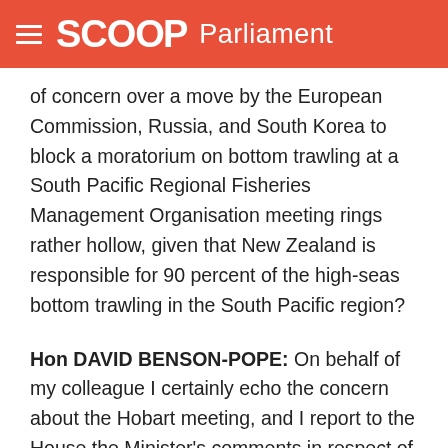SCOOP Parliament
of concern over a move by the European Commission, Russia, and South Korea to block a moratorium on bottom trawling at a South Pacific Regional Fisheries Management Organisation meeting rings rather hollow, given that New Zealand is responsible for 90 percent of the high-seas bottom trawling in the South Pacific region?
Hon DAVID BENSON-POPE: On behalf of my colleague I certainly echo the concern about the Hobart meeting, and I report to the House the Minister’s comments in respect of that matter: “New Zealand worked hard to broker a range of strong measures that would protect fragile deep water ecosystems in the South Pacific